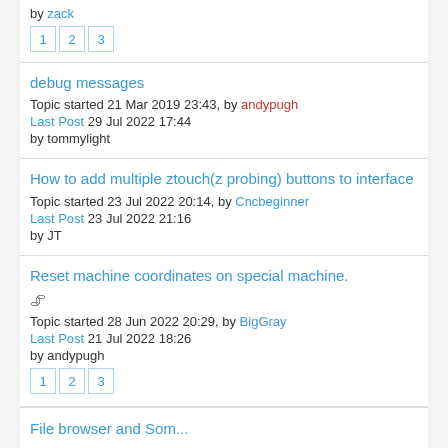by zack
1 2 3
debug messages
Topic started 21 Mar 2019 23:43, by andypugh
Last Post 29 Jul 2022 17:44
by tommylight
How to add multiple ztouch(z probing) buttons to interface
Topic started 23 Jul 2022 20:14, by Cncbeginner
Last Post 23 Jul 2022 21:16
by JT
Reset machine coordinates on special machine.
Topic started 28 Jun 2022 20:29, by BigGray
Last Post 21 Jul 2022 18:26
by andypugh
1 2 3
File browser and Som...